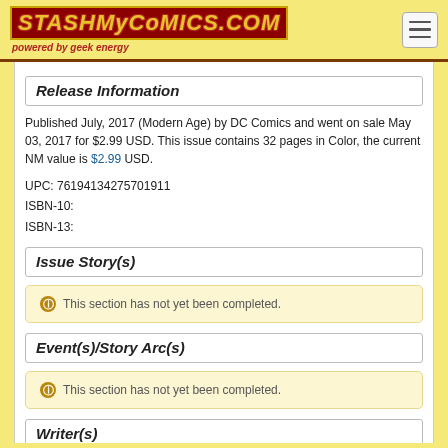StashMyComics.com powered by geek energy
Release Information
Published July, 2017 (Modern Age) by DC Comics and went on sale May 03, 2017 for $2.99 USD. This issue contains 32 pages in Color, the current NM value is $2.99 USD.
UPC: 76194134275701911
ISBN-10:
ISBN-13:
Issue Story(s)
This section has not yet been completed.
Event(s)/Story Arc(s)
This section has not yet been completed.
Writer(s)